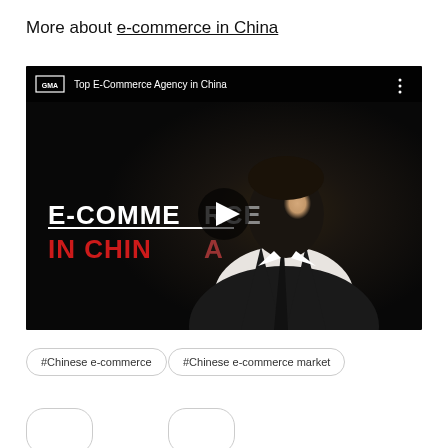More about e-commerce in China
[Figure (screenshot): Video thumbnail showing a man in a suit against a dark background with text overlays 'E-COMMERCE IN CHINA' and GMA logo, titled 'Top E-Commerce Agency in China' with a play button in the center]
#Chinese e-commerce
#Chinese e-commerce market